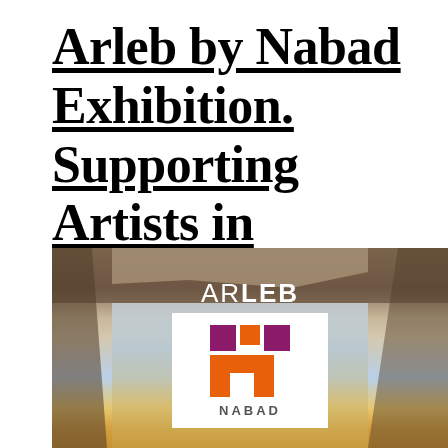Arleb by Nabad Exhibition. Supporting Artists in Lebanon.
[Figure (photo): Photo of a damaged building interior with exposed beams and broken ceiling, overlaid with the ARLEB text logo and the NABAD organization logo (orange and purple geometric mark on white background).]